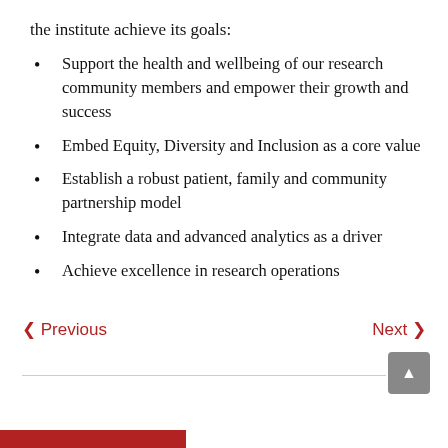the institute achieve its goals:
Support the health and wellbeing of our research community members and empower their growth and success
Embed Equity, Diversity and Inclusion as a core value
Establish a robust patient, family and community partnership model
Integrate data and advanced analytics as a driver
Achieve excellence in research operations
‹ Previous    Next ›